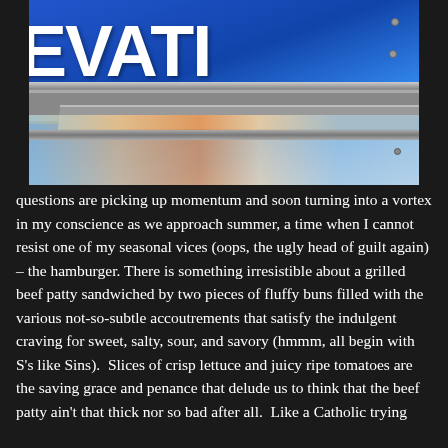[Figure (photo): Photo of a building sign partially visible showing letters 'EVATI' (likely 'ELEVATION') in large white text on blue background, with metal framework and a rainbow-colored panel below, against a light sky background.]
questions are picking up momentum and soon turning into a vortex in my conscience as we approach summer, a time when I cannot resist one of my seasonal vices (oops, the ugly head of guilt again) – the hamburger. There is something irresistible about a grilled beef patty sandwiched by two pieces of fluffy buns filled with the various not-so-subtle accoutrements that satisfy the indulgent craving for sweet, salty, sour, and savory (hmmm, all begin with S's like Sins).  Slices of crisp lettuce and juicy ripe tomatoes are the saving grace and penance that delude us to think that the beef patty ain't that thick nor so bad after all.  Like a Catholic trying